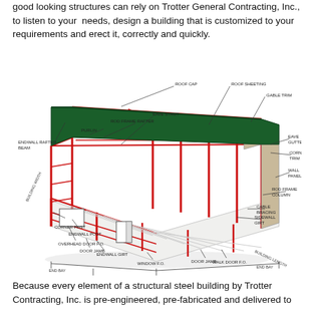good looking structures can rely on Trotter General Contracting, Inc., to listen to your needs, design a building that is customized to your requirements and erect it, correctly and quickly.
[Figure (engineering-diagram): Labeled isometric diagram of a pre-engineered structural steel building showing components: Roof Cap, Roof Sheeting, Gable Trim, Eave Strut, Rod Frame Rafter, Purlin, Endwall Rafter Beam, Eave Gutter, Corner Trim, Wall Panel, Rod Frame Column, Cable Bracing, Sidewall Girt, Door Jamb, Walk Door F.O., End Bay, Building Length, Window F.O., Endwall Girt, Endwall Post, Overhead Door F.O., Door Jamb, Corner Post, Building Width, End Bay]
Because every element of a structural steel building by Trotter Contracting, Inc. is pre-engineered, pre-fabricated and delivered to